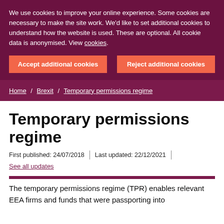We use cookies to improve your online experience. Some cookies are necessary to make the site work. We'd like to set additional cookies to understand how the website is used. These are optional. All cookie data is anonymised. View cookies.
Accept additional cookies
Reject additional cookies
Home / Brexit / Temporary permissions regime
Temporary permissions regime
First published: 24/07/2018 | Last updated: 22/12/2021 |
See all updates
The temporary permissions regime (TPR) enables relevant EEA firms and funds that were passporting into